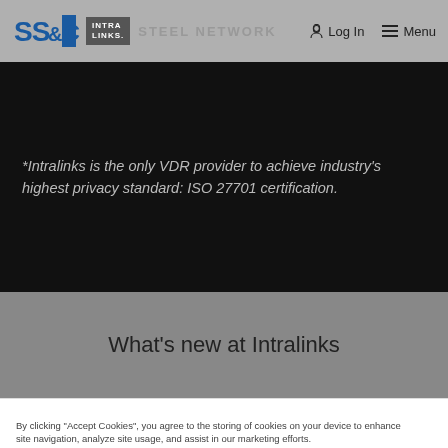SS&C Intralinks | Log In | Menu
*Intralinks is the only VDR provider to achieve industry's highest privacy standard: ISO 27701 certification.
What's new at Intralinks
By clicking "Accept Cookies", you agree to the storing of cookies on your device to enhance site navigation, analyze site usage, and assist in our marketing efforts.